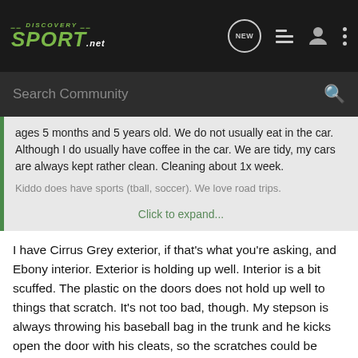DISCOVERY SPORT.NET
Search Community
ages 5 months and 5 years old. We do not usually eat in the car. Although I do usually have coffee in the car. We are tidy, my cars are always kept rather clean. Cleaning about 1x week.
Kiddo does have sports (tball, soccer). We love road trips.
Click to expand...
I have Cirrus Grey exterior, if that's what you're asking, and Ebony interior. Exterior is holding up well. Interior is a bit scuffed. The plastic on the doors does not hold up well to things that scratch. It's not too bad, though. My stepson is always throwing his baseball bag in the trunk and he kicks open the door with his cleats, so the scratches could be worse than they are.